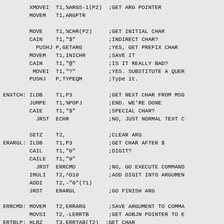Assembly source code listing with instructions and comments including XMOVEI, MOVEM, MOVE, CAIN, PUSHJ, MOVEI, ENXTCH, JUMPE, CAIE, JRST, SETZ, ERARGL, ILDB, CAIL, CAILE, IMULI, ADDI, ERRCMD, MOVSI, ERTBLP, HLRZ, AOBJN sections